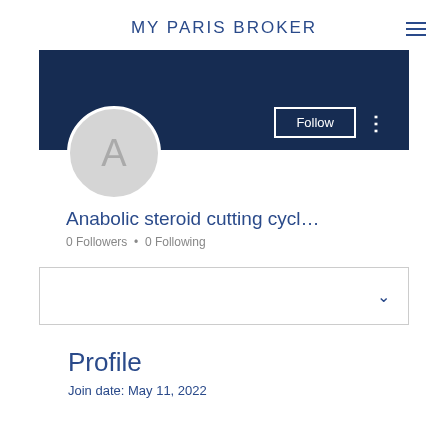MY PARIS BROKER
[Figure (screenshot): Dark navy blue banner/cover image for user profile]
[Figure (illustration): Circular avatar placeholder with letter A on grey background]
Anabolic steroid cutting cycl…
0 Followers • 0 Following
[Figure (other): Dropdown box with chevron down icon]
Profile
Join date: May 11, 2022